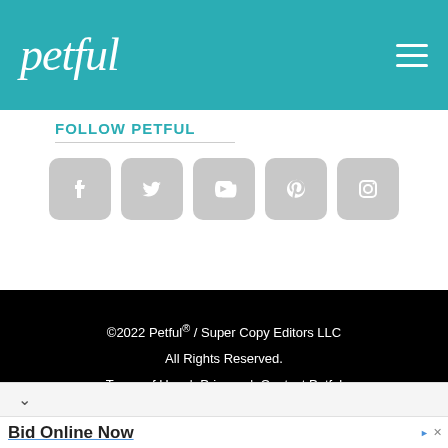petful
FOLLOW PETFUL
[Figure (infographic): Row of 5 grey rounded-square social media icons: Facebook, Twitter, YouTube, Pinterest, Instagram]
©2022 Petful® / Super Copy Editors LLC
All Rights Reserved.
Terms of Use  |  Privacy  |  Contact Petful
Bid Online Now
2004 Caterpillar 320CL Excavator w/ Attachments Wisconsin Surplus